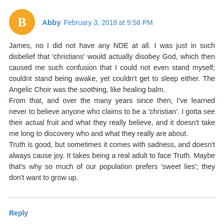[Figure (other): Circular orange avatar icon with white blogger 'B' logo]
Abby  February 3, 2018 at 9:58 PM
James, no I did not have any NDE at all. I was just in such disbelief that 'christians' would actually disobey God, which then caused me such confusion that I could not even stand myself; couldnt stand being awake, yet couldn't get to sleep either. The Angelic Choir was the soothing, like healing balm.
From that, and over the many years since then, I've learned never to believe anyone who claims to be a 'christian'. I gotta see their actual fruit and what they really believe, and it doesn't take me long to discovery who and what they really are about.
Truth is good, but sometimes it comes with sadness, and doesn't always cause joy. It takes being a real adult to face Truth. Maybe that's why so much of our population prefers 'sweet lies'; they don't want to grow up.
Reply